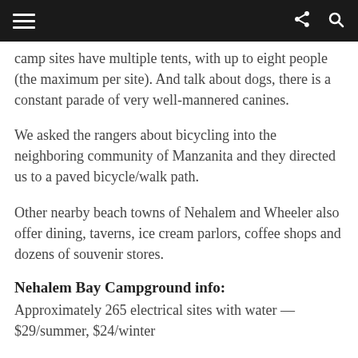camp sites have multiple tents, with up to eight people (the maximum per site). And talk about dogs, there is a constant parade of very well-mannered canines.
We asked the rangers about bicycling into the neighboring community of Manzanita and they directed us to a paved bicycle/walk path.
Other nearby beach towns of Nehalem and Wheeler also offer dining, taverns, ice cream parlors, coffee shops and dozens of souvenir stores.
Nehalem Bay Campground info:
Approximately 265 electrical sites with water — $29/summer, $24/winter